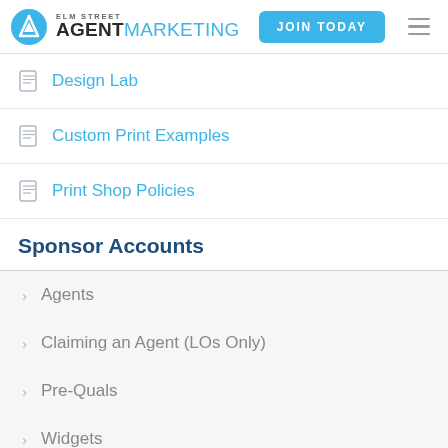ELM STREET AGENTMARKETING | JOIN TODAY
Design Lab
Custom Print Examples
Print Shop Policies
Sponsor Accounts
Agents
Claiming an Agent (LOs Only)
Pre-Quals
Widgets
Strategies
Tips, Tricks & Troubleshooting